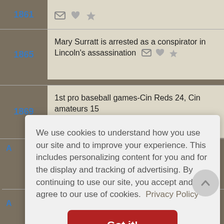1861 [icons]
1865 - Mary Surratt is arrested as a conspirator in Lincoln's assassination
1869 - 1st pro baseball games-Cin Reds 24, Cin amateurs 15
We use cookies to understand how you use our site and to improve your experience. This includes personalizing content for you and for the display and tracking of advertising. By continuing to use our site, you accept and agree to our use of cookies. Privacy Policy
Got it!